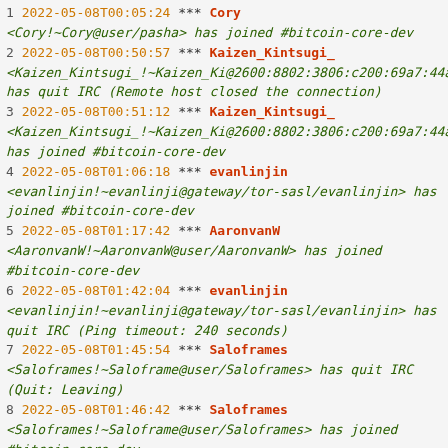1 2022-05-08T00:05:24  *** Cory <Cory!~Cory@user/pasha> has joined #bitcoin-core-dev
2 2022-05-08T00:50:57  *** Kaizen_Kintsugi_ <Kaizen_Kintsugi_!~Kaizen_Ki@2600:8802:3806:c200:69a7:44a has quit IRC (Remote host closed the connection)
3 2022-05-08T00:51:12  *** Kaizen_Kintsugi_ <Kaizen_Kintsugi_!~Kaizen_Ki@2600:8802:3806:c200:69a7:44a has joined #bitcoin-core-dev
4 2022-05-08T01:06:18  *** evanlinjin <evanlinjin!~evanlinji@gateway/tor-sasl/evanlinjin> has joined #bitcoin-core-dev
5 2022-05-08T01:17:42  *** AaronvanW <AaronvanW!~AaronvanW@user/AaronvanW> has joined #bitcoin-core-dev
6 2022-05-08T01:42:04  *** evanlinjin <evanlinjin!~evanlinji@gateway/tor-sasl/evanlinjin> has quit IRC (Ping timeout: 240 seconds)
7 2022-05-08T01:45:54  *** Saloframes <Saloframes!~Saloframe@user/Saloframes> has quit IRC (Quit: Leaving)
8 2022-05-08T01:46:42  *** Saloframes <Saloframes!~Saloframe@user/Saloframes> has joined #bitcoin-core-dev
9 2022-05-08T01:50:12  *** AaronvanW <AaronvanW!~AaronvanW@user/AaronvanW> has quit IRC (Ping timeout: 240 seconds)
10 2022-05-08T01:51:27  *** Guest1